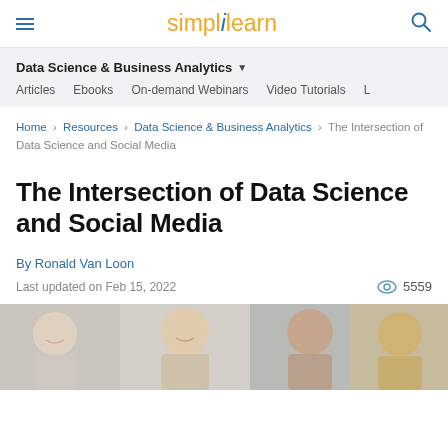simplilearn
Data Science & Business Analytics
Articles  Ebooks  On-demand Webinars  Video Tutorials
Home > Resources > Data Science & Business Analytics > The Intersection of Data Science and Social Media
The Intersection of Data Science and Social Media
By Ronald Van Loon
Last updated on Feb 15, 2022  5559
[Figure (photo): Group of diverse young people smiling and working with laptops and tablets]